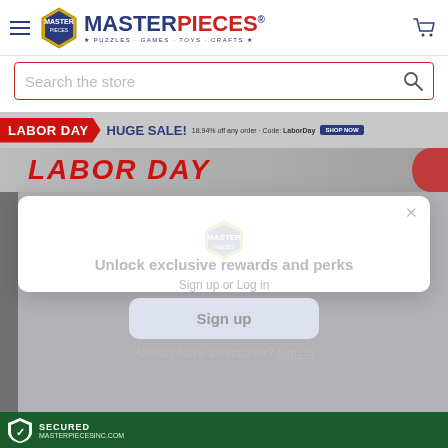MasterPieces — Puzzles · Games · Toys · Crafts
Search the store
[Figure (screenshot): Labor Day Huge Sale banner — 18.94% off any order, code LaborDay, Shop Now button]
[Figure (infographic): Labor Day promotional banner with large red text]
[Figure (logo): MasterPieces faded logo watermark]
Unlock exclusive rewards and perks
Sign up or Log in
Sign up
Already have an account? Sign in
SECURED · MASTERPIECESINC.COM